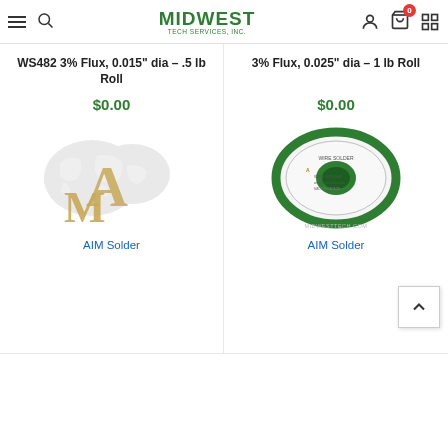Midwest Tech Services - Lead Free, Water Soluble Wire Solder / Water Soluble Wire Solder
WS482 3% Flux, 0.015" dia - .5 lb Roll
$0.00
3% Flux, 0.025" dia - 1 lb Roll
$0.00
[Figure (logo): AIM Solder logo with stylized A and M letters in gold/tan color over a grey world map background]
AIM Solder
[Figure (photo): AIM Wire Solder reel/spool with white body and green ends, labeled MIDWESTTECH.COM]
AIM Solder